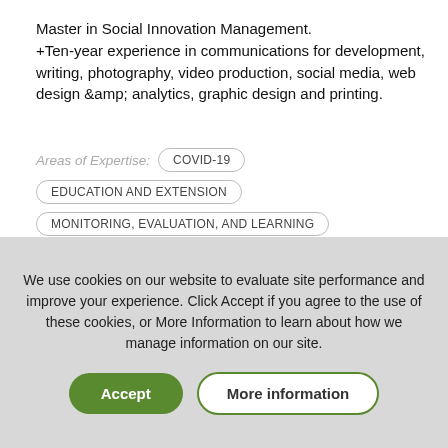Master in Social Innovation Management. +Ten-year experience in communications for development, writing, photography, video production, social media, web design &amp; analytics, graphic design and printing.
Areas of Expertise: COVID-19 EDUCATION AND EXTENSION MONITORING, EVALUATION, AND LEARNING
We use cookies on our website to evaluate site performance and improve your experience. Click Accept if you agree to the use of these cookies, or More Information to learn about how we manage information on our site.